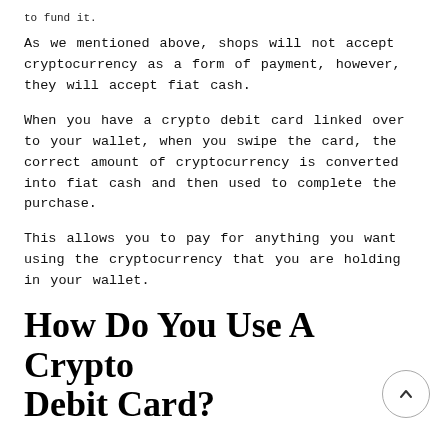to fund it.
As we mentioned above, shops will not accept cryptocurrency as a form of payment, however, they will accept fiat cash.
When you have a crypto debit card linked over to your wallet, when you swipe the card, the correct amount of cryptocurrency is converted into fiat cash and then used to complete the purchase.
This allows you to pay for anything you want using the cryptocurrency that you are holding in your wallet.
How Do You Use A Crypto Debit Card?